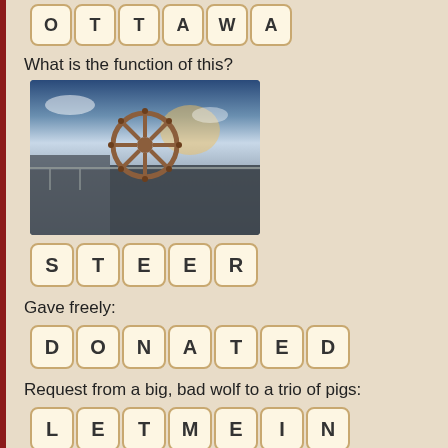[Figure (other): Letter tiles spelling OTTAWA at the top, partially visible]
What is the function of this?
[Figure (photo): Photo of a ship's steering wheel (helm) on a boat deck with dramatic sky and water in background]
[Figure (other): Letter tiles spelling STEER]
Gave freely:
[Figure (other): Letter tiles spelling DONATED]
Request from a big, bad wolf to a trio of pigs:
[Figure (other): Letter tiles spelling LETMEIN]
Ice skaters need to be cautious of ankle _______:
[Figure (other): Letter tiles spelling SPRAINS]
The ninth month of the Islamic calendar observed by fasting